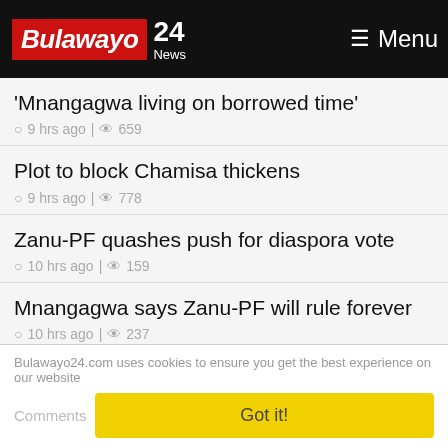Bulawayo 24 News — Menu
'Mnangagwa living on borrowed time'
9 hrs ago | 659
Plot to block Chamisa thickens
9 hrs ago | 778
Zanu-PF quashes push for diaspora vote
10 hrs ago | 159
Mnangagwa says Zanu-PF will rule forever
10 hrs ago | 237
Tsvangirai's former adviser form his own party
Bulawayo24.com uses cookies to ensure you get the best experience on our website
Got it!